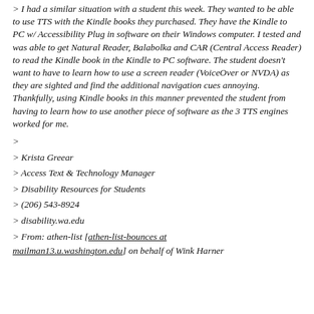> I had a similar situation with a student this week. They wanted to be able to use TTS with the Kindle books they purchased. They have the Kindle to PC w/ Accessibility Plug in software on their Windows computer. I tested and was able to get Natural Reader, Balabolka and CAR (Central Access Reader) to read the Kindle book in the Kindle to PC software. The student doesn't want to have to learn how to use a screen reader (VoiceOver or NVDA) as they are sighted and find the additional navigation cues annoying. Thankfully, using Kindle books in this manner prevented the student from having to learn how to use another piece of software as the 3 TTS engines worked for me.
>
> Krista Greear
> Access Text & Technology Manager
> Disability Resources for Students
> (206) 543-8924
> disability.wa.edu
> From: athen-list [athen-list-bounces at mailman13.u.washington.edu] on behalf of Wink Harner